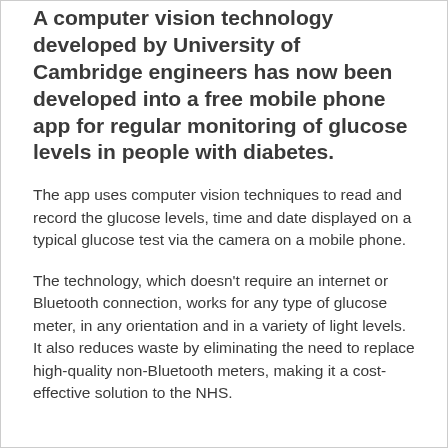A computer vision technology developed by University of Cambridge engineers has now been developed into a free mobile phone app for regular monitoring of glucose levels in people with diabetes.
The app uses computer vision techniques to read and record the glucose levels, time and date displayed on a typical glucose test via the camera on a mobile phone.
The technology, which doesn't require an internet or Bluetooth connection, works for any type of glucose meter, in any orientation and in a variety of light levels. It also reduces waste by eliminating the need to replace high-quality non-Bluetooth meters, making it a cost-effective solution to the NHS.